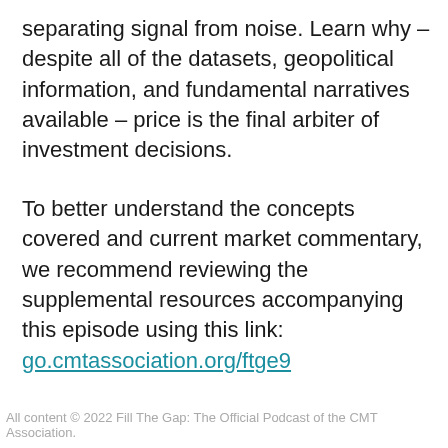separating signal from noise. Learn why – despite all of the datasets, geopolitical information, and fundamental narratives available – price is the final arbiter of investment decisions.
To better understand the concepts covered and current market commentary, we recommend reviewing the supplemental resources accompanying this episode using this link: go.cmtassociation.org/ftge9
All content © 2022 Fill The Gap: The Official Podcast of the CMT Association.